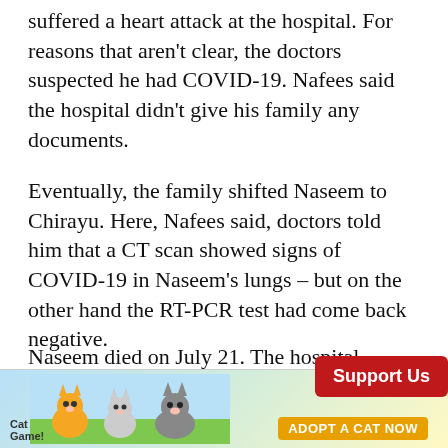suffered a heart attack at the hospital. For reasons that aren't clear, the doctors suspected he had COVID-19. Nafees said the hospital didn't give his family any documents.
Eventually, the family shifted Naseem to Chirayu. Here, Nafees said, doctors told him that a CT scan showed signs of COVID-19 in Naseem's lungs – but on the other hand the RT-PCR test had come back negative.
Naseem died on July 21. The hospital labelled the death a suspected COVID-19 death, and the body was buried accordingly. The Wire Science reached out to Chirayu's director Ajay Goenka to discuss more [response obscured by ad banner]onse.
[Figure (other): Red 'Support Us' button overlay on right side of page]
[Figure (other): Advertisement banner at bottom: 'Adopt a Cat Now' mobile game ad with cartoon cats, close button (? X), and Cat Game logo]